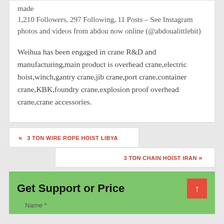made
1,210 Followers, 297 Following, 11 Posts – See Instagram photos and videos from abdou now online (@abdoualittlebit)
Weihua has been engaged in crane R&D and manufacturing,main product is overhead crane,electric hoist,winch,gantry crane,jib crane,port crane,container crane,KBK,foundry crane,explosion proof overhead crane,crane accessories.
« 3 TON WIRE ROPE HOIST LIBYA
3 TON CHAIN HOIST IRAN »
Get Support or Price
Name *